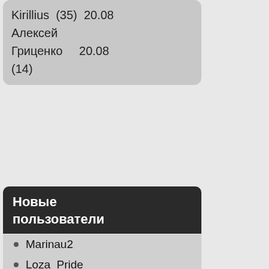Kirillius (35) 20.08
Алексей Гриценко 20.08
(14)
Новые пользователи
Marinau2
Loza_Pride
Ральф2
Sasha2806
vapour_trail
DeeVox
Donna
Ernikka
Alexander Justus
Poitaf